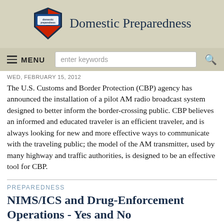Domestic Preparedness
WED, FEBRUARY 15, 2012
The U.S. Customs and Border Protection (CBP) agency has announced the installation of a pilot AM radio broadcast system designed to better inform the border-crossing public. CBP believes an informed and educated traveler is an efficient traveler, and is always looking for new and more effective ways to communicate with the traveling public; the model of the AM transmitter, used by many highway and traffic authorities, is designed to be an effective tool for CBP.
PREPAREDNESS
NIMS/ICS and Drug-Enforcement Operations - Yes and No
by STEPHEN GRAINER - WED, FEBRUARY 15, 2012